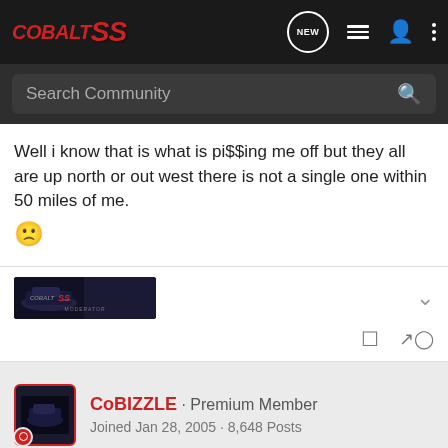COBALT SS - Navigation bar with search
Well i know that is what is pi$$ing me off but they all are up north or out west there is not a single one within 50 miles of me. 🙁
[Figure (logo): CobaltSS.com Moderator banner image]
CoBIZZLE · Premium Member
Joined Jan 28, 2005 · 8,648 Posts